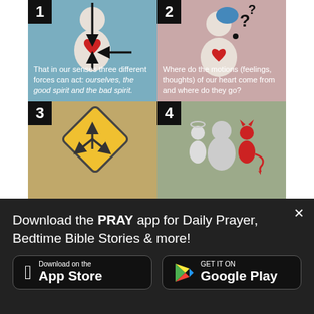[Figure (infographic): 4-panel infographic with numbered sections. Panel 1 (blue): person figure with arrows and heart, text about three forces. Panel 2 (pink): person with question marks. Panel 3 (gold): diamond road sign with arrows. Panel 4 (sage green): three figures.]
Download the PRAY app for Daily Prayer, Bedtime Bible Stories & more!
[Figure (other): Download on the App Store button]
[Figure (other): GET IT ON Google Play button]